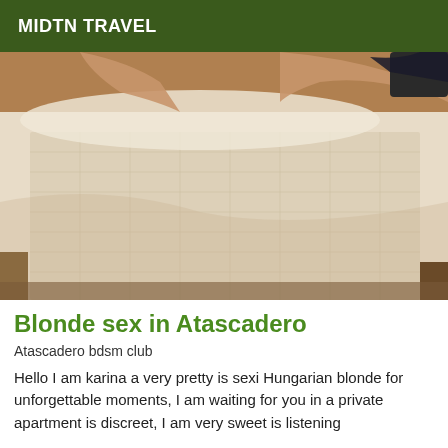MIDTN TRAVEL
[Figure (photo): A person resting on a bed with white textured bedding, viewed from an angle. Partial view of legs visible in upper portion of the image.]
Blonde sex in Atascadero
Atascadero bdsm club
Hello I am karina a very pretty is sexi Hungarian blonde for unforgettable moments, I am waiting for you in a private apartment is discreet, I am very sweet is listening